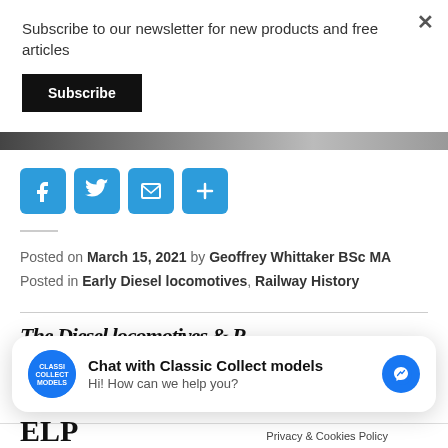× (close button)
Subscribe to our newsletter for new products and free articles
Subscribe (button)
[Figure (screenshot): Partial image strip visible at bottom of subscribe section]
[Figure (infographic): Social share icons: Facebook (f), Twitter (bird), Email (envelope), Share (+), all in blue rounded squares]
Posted on March 15, 2021 by Geoffrey Whittaker BSc MA
Posted in Early Diesel locomotives, Railway History
Partial article title beginning visible
[Figure (infographic): Chat widget: Classic Collect models logo, 'Chat with Classic Collect models', 'Hi! How can we help you?', Messenger icon]
Privacy & Cookies Policy
ELP (partial bold text)